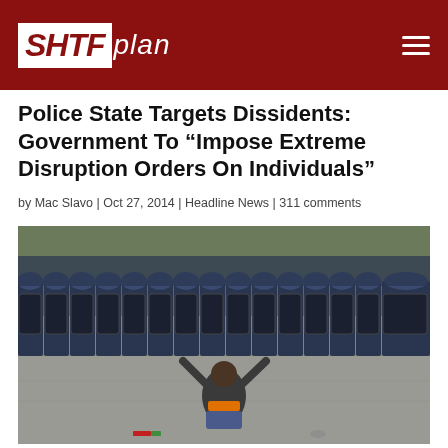SHTFplan
Police State Targets Dissidents: Government To “Impose Extreme Disruption Orders On Individuals”
by Mac Slavo | Oct 27, 2014 | Headline News | 311 comments
[Figure (photo): A lone protester kneeling on the ground with arms raised facing a line of riot police holding shields, outdoors on a street.]